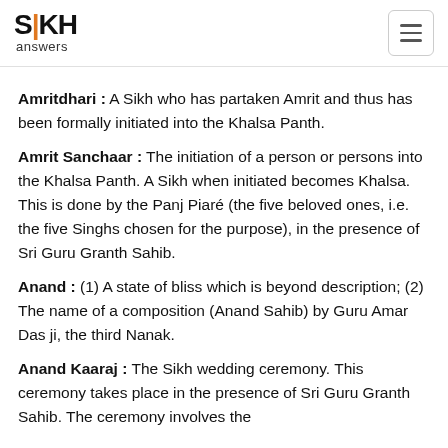Sikh Answers
Amritdhari : A Sikh who has partaken Amrit and thus has been formally initiated into the Khalsa Panth.
Amrit Sanchaar : The initiation of a person or persons into the Khalsa Panth. A Sikh when initiated becomes Khalsa. This is done by the Panj Piarés (the five beloved ones, i.e. the five Singhs chosen for the purpose), in the presence of Sri Guru Granth Sahib.
Anand : (1) A state of bliss which is beyond description; (2) The name of a composition (Anand Sahib) by Guru Amar Das ji, the third Nanak.
Anand Kaaraj : The Sikh wedding ceremony. This ceremony takes place in the presence of Sri Guru Granth Sahib. The ceremony involves the...